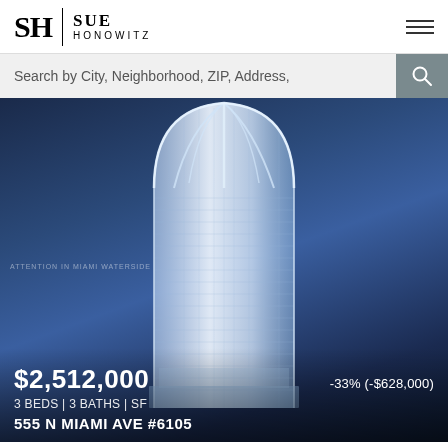[Figure (logo): SH | SUE HONOWITZ real estate agent logo with serif SH initials and divider]
Search by City, Neighborhood, ZIP, Address,
[Figure (photo): Luxury modern glass skyscraper tower with curved arched top against deep blue night sky. Property listing photo for 555 N Miami Ave #6105.]
$2,512,000
-33% (-$628,000)
3 BEDS | 3 BATHS | SF
555 N MIAMI AVE #6105